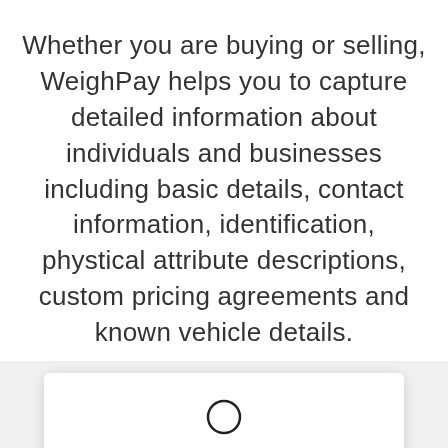Whether you are buying or selling, WeighPay helps you to capture detailed information about individuals and businesses including basic details, contact information, identification, phystical attribute descriptions, custom pricing agreements and known vehicle details.
[Figure (illustration): Icon of a person sitting at a desk, representing a customer or business contact.]
Differentiate Between Retail, Business Custo...
Quickly identify which contacts are categorized as...
Scroll to Top
We're Online! How may I help you today?